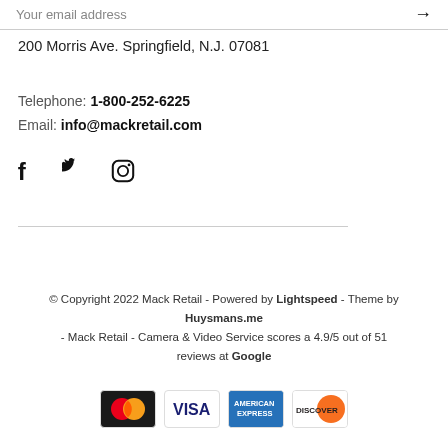Your email address →
200 Morris Ave. Springfield, N.J. 07081
Telephone: 1-800-252-6225
Email: info@mackretail.com
[Figure (illustration): Social media icons: Facebook, Twitter, Instagram]
© Copyright 2022 Mack Retail - Powered by Lightspeed - Theme by Huysmans.me - Mack Retail - Camera & Video Service scores a 4.9/5 out of 51 reviews at Google
[Figure (illustration): Payment method icons: Mastercard, Visa, American Express, Discover]